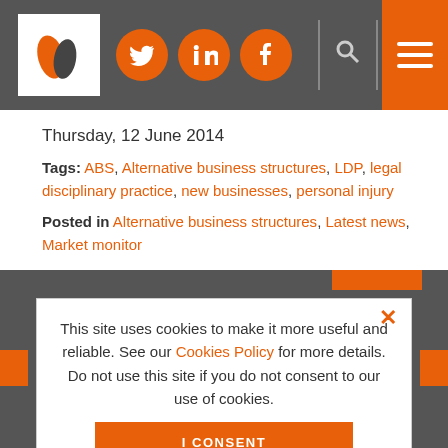Header with logo, Twitter, LinkedIn, Facebook social icons, search, and menu
Thursday, 12 June 2014
Tags: ABS, Alternative business structures, LDP, legal disciplinary practice, new businesses, personal injury
Posted in Alternative business structures, Latest news, Market monitor
This site uses cookies to make it more useful and reliable. See our Cookies Policy for more details. Do not use this site if you do not consent to our use of cookies.
I CONSENT
SEE COOKIE POLICY